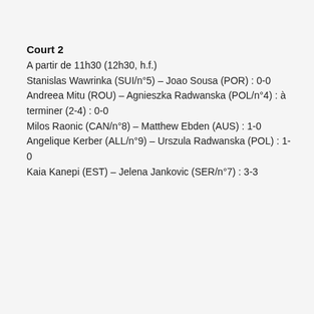Court 2
A partir de 11h30 (12h30, h.f.)
Stanislas Wawrinka (SUI/n°5) – Joao Sousa (POR) : 0-0
Andreea Mitu (ROU) – Agnieszka Radwanska (POL/n°4) : à terminer (2-4) : 0-0
Milos Raonic (CAN/n°8) – Matthew Ebden (AUS) : 1-0
Angelique Kerber (ALL/n°9) – Urszula Radwanska (POL) : 1-0
Kaia Kanepi (EST) – Jelena Jankovic (SER/n°7) : 3-3